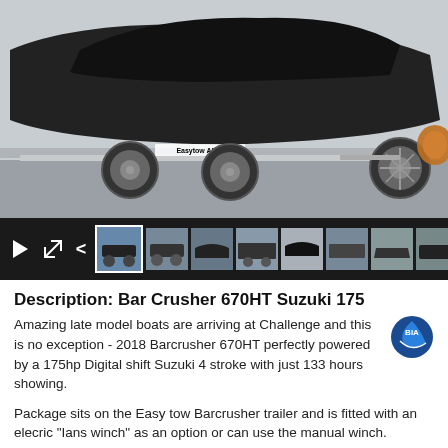[Figure (photo): Black boat on Easytow Alloy trailer, side view in parking area]
[Figure (photo): Thumbnail strip showing play button, expand button, navigation arrows, and 9 small thumbnail images of the boat]
Description: Bar Crusher 670HT Suzuki 175
Amazing late model boats are arriving at Challenge and this is no exception - 2018 Barcrusher 670HT perfectly powered by a 175hp Digital shift Suzuki 4 stroke with just 133 hours showing.
Package sits on the Easy tow Barcrusher trailer and is fitted with an elecric "Ians winch" as an option or can use the manual winch.
Options include...